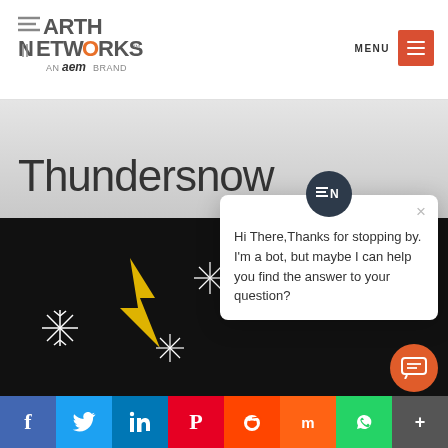Earth Networks — AN aem BRAND | MENU
Thundersnow
[Figure (screenshot): Website screenshot showing Earth Networks brand page for 'Thundersnow' with a chat bot popup saying 'Hi There, Thanks for stopping by. I'm a bot, but maybe I can help you find the answer to your question?' and social sharing bar at bottom (Facebook, Twitter, LinkedIn, Pinterest, Reddit, Mix, WhatsApp, More)]
Hi There, Thanks for stopping by. I'm a bot, but maybe I can help you find the answer to your question?